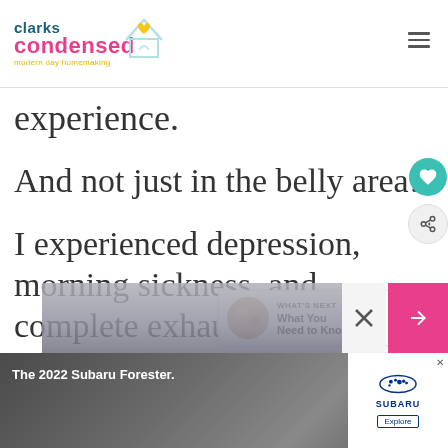clarks condensed - modern day homemaking
experience.
And not just in the belly area!
I experienced depression, morning sickness, and complete exhaustion.
[Figure (screenshot): What's Next promotional bar with thumbnail image and text 'What You Need to Kno...']
[Figure (photo): Car interior advertisement for The 2022 Subaru Forester with Subaru logo and Explore button]